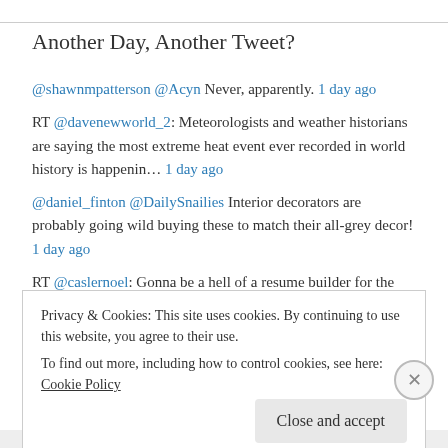Another Day, Another Tweet?
@shawnmpatterson @Acyn Never, apparently. 1 day ago
RT @davenewworld_2: Meteorologists and weather historians are saying the most extreme heat event ever recorded in world history is happenin… 1 day ago
@daniel_finton @DailySnailies Interior decorators are probably going wild buying these to match their all-grey decor! 1 day ago
RT @caslernoel: Gonna be a hell of a resume builder for the GOP, voting twice to not impeach the greatest traitor in US history, well
Privacy & Cookies: This site uses cookies. By continuing to use this website, you agree to their use.
To find out more, including how to control cookies, see here: Cookie Policy
Close and accept